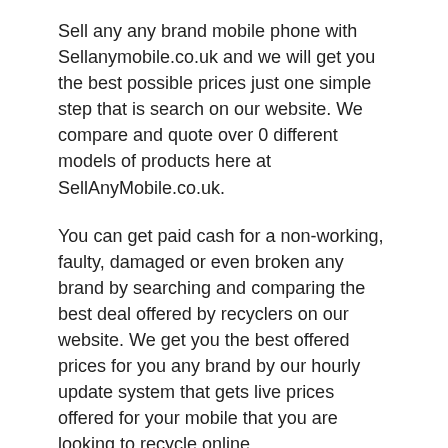Sell any any brand mobile phone with Sellanymobile.co.uk and we will get you the best possible prices just one simple step that is search on our website. We compare and quote over 0 different models of products here at SellAnyMobile.co.uk.
You can get paid cash for a non-working, faulty, damaged or even broken any brand by searching and comparing the best deal offered by recyclers on our website. We get you the best offered prices for you any brand by our hourly update system that gets live prices offered for your mobile that you are looking to recycle online.
In UK we have . Currently buying your broken, faulty, damaged or non working any brand.
You can get a valuation for your mobile on our website by searching your phone on our smart search tool. We get you offers for your any brand or any other Smartphone or handset, and if you are happy with the price you can simply clicking Sell